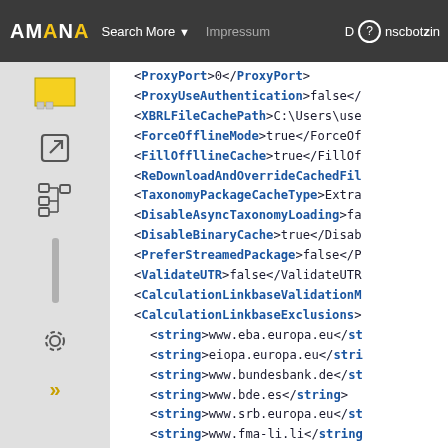AMANA Search More Impressum D? nscbotzin
<ProxyPort>0</ProxyPort>
<ProxyUseAuthentication>false</
<XBRLFileCachePath>C:\Users\use
<ForceOfflineMode>true</ForceOf
<FillOffllineCache>true</FillOf
<ReDownloadAndOverrideCachedFil
<TaxonomyPackageCacheType>Extra
<DisableAsyncTaxonomyLoading>fa
<DisableBinaryCache>true</Disab
<PreferStreamedPackage>false</P
<ValidateUTR>false</ValidateUTR
<CalculationLinkbaseValidationM
<CalculationLinkbaseExclusions>
  <string>www.eba.europa.eu</st
  <string>eiopa.europa.eu</stri
  <string>www.bundesbank.de</st
  <string>www.bde.es</string>
  <string>www.srb.europa.eu</st
  <string>www.fma-li.li</string
  <string>www.bankingsupervisio
  <string>www.bankofengland.co.